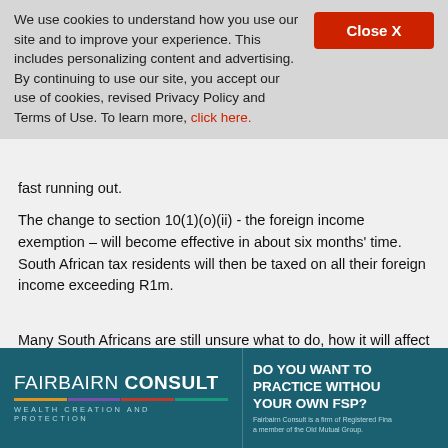We use cookies to understand how you use our site and to improve your experience. This includes personalizing content and advertising. By continuing to use our site, you accept our use of cookies, revised Privacy Policy and Terms of Use. To learn more, click here.
fast running out.
The change to section 10(1)(o)(ii) - the foreign income exemption – will become effective in about six months' time. South African tax residents will then be taxed on all their foreign income exceeding R1m.
Many South Africans are still unsure what to do, how it will affect them and how the South African Revenue Service (SARS) will administer this change, says Jonty Leon, expatriate tax legal manager at Tax Consulting SA.
[Figure (other): Fairbairn Consult advertisement banner — teal background with logo, colored bars, tagline 'Wealth Creation and Protection', and text 'Do you want to practice without your own FSP?']